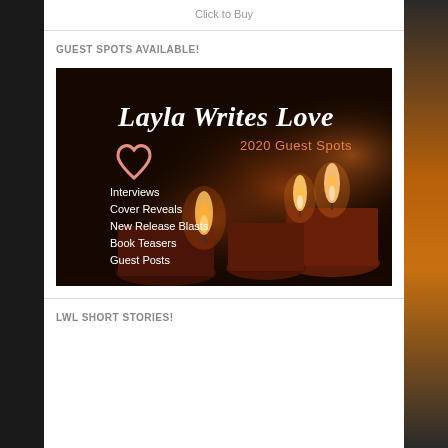Click to Buy
GUEST SPOTS AVAILABLE!
[Figure (illustration): Layla Writes Love 2020 Guest Spots promotional image on dark candle-lit background. Lists: Interviews, Cover Reveals, New Release Blasts, Book Teasers, Guest Posts. Heart outline graphic on left.]
LWL SHORT STORIES!